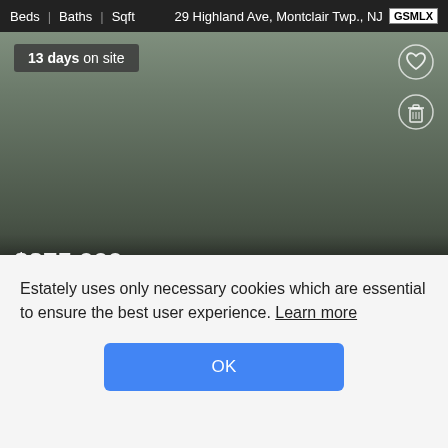Beds | Baths | Sqft   29 Highland Ave, Montclair Twp., NJ  GSMLX
[Figure (photo): Property exterior photo showing a building, darkened/gradient overlay. Badge showing '13 days on site' in top-left. Heart icon and trash icon on right side.]
$375,000
2 | 1 | —
51 South Park Street Unit C0302, Montclair, NJ
Keller Williams Realty - NJ Metro Group
Estately uses only necessary cookies which are essential to ensure the best user experience. Learn more
OK